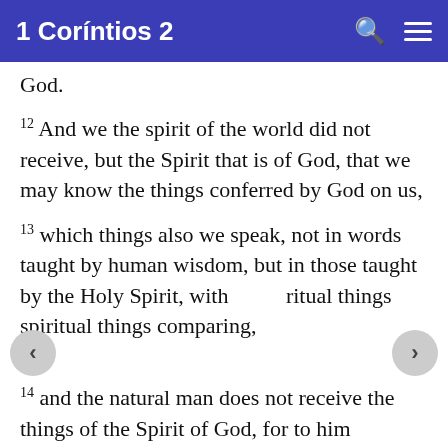1 Coríntios 2
God.
12 And we the spirit of the world did not receive, but the Spirit that is of God, that we may know the things conferred by God on us,
13 which things also we speak, not in words taught by human wisdom, but in those taught by the Holy Spirit, with ritual things spiritual things comparing,
14 and the natural man does not receive the things of the Spirit of God, for to him